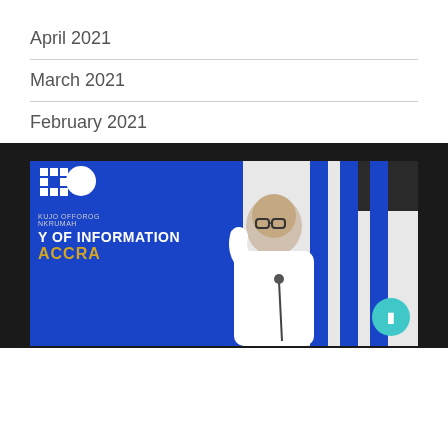April 2021
March 2021
February 2021
[Figure (photo): A government official speaking at a podium at the Ministry of Information, Accra. Blue backdrop with gold text reading 'Y OF INFORMATION' and 'ACCRA'. The speaker is wearing white and gesturing with one hand. A teal circular button overlay is visible at the bottom right.]